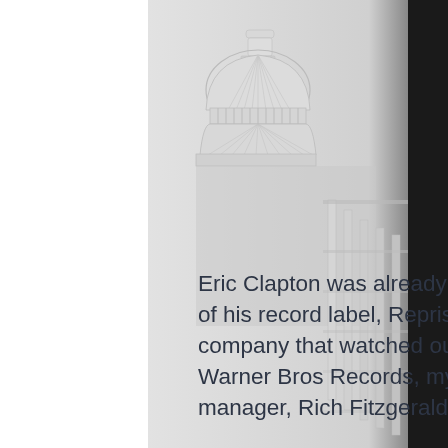[Figure (photo): Black and white photograph of the US Capitol building dome, shown against a light gray background with a dark right side. The image is partially visible, cropped to show the upper dome and partial lower rotunda columns.]
Eric Clapton was already a mega-superstar when I became president of his record label, Reprise. He had a dedicated team inside the company that watched out for him, including Mo Ostin, the chair of Warner Bros Records, my ultimate boss, and the Reprise general manager, Rich Fitzgerald, who Clapton admired and